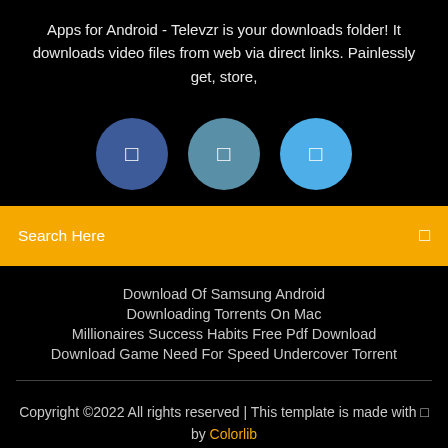Apps for Android - Televzr is your downloads folder! It downloads video files from web via direct links. Painlessly get, store,
[Figure (illustration): Three circular icon buttons in a row: dark blue, medium blue-gray, and light blue, each containing a small white square/icon symbol]
Search Here
Download Of Samsung Android
Downloading Torrents On Mac
Millionaires Success Habits Free Pdf Download
Download Game Need For Speed Undercover Torrent
Copyright ©2022 All rights reserved | This template is made with ♥ by Colorlib